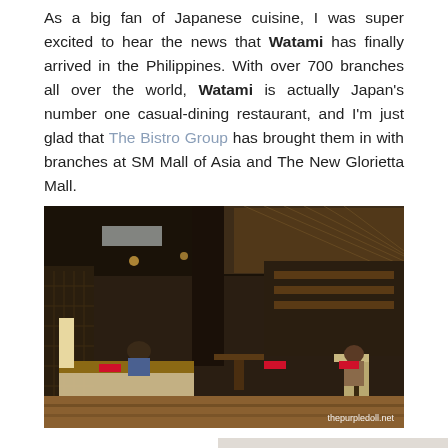As a big fan of Japanese cuisine, I was super excited to hear the news that Watami has finally arrived in the Philippines. With over 700 branches all over the world, Watami is actually Japan's number one casual-dining restaurant, and I'm just glad that The Bistro Group has brought them in with branches at SM Mall of Asia and The New Glorietta Mall.
[Figure (photo): Interior of Watami restaurant in the Philippines showing the dining area with wooden booth seating, tables, chairs, decorative ceiling panels, and the bar/kitchen in the background. Watermark reads thepurpledoll.net.]
[Figure (photo): Partial bottom image showing what appears to be a table surface, cropped at the bottom of the page.]